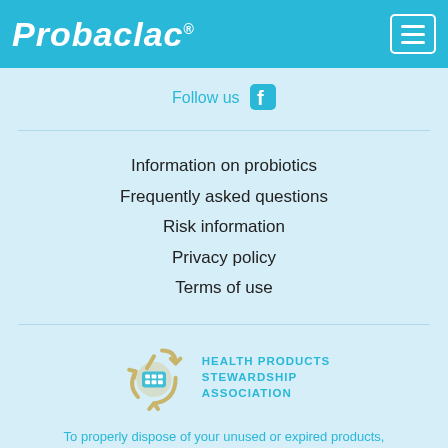Probaclac
Follow us
Information on probiotics
Frequently asked questions
Risk information
Privacy policy
Terms of use
[Figure (logo): Health Products Stewardship Association logo with recycling arrows and pill/tablet icon]
To properly dispose of your unused or expired products, visit : www.healthsteward.ca
© 2020 Nicar Laboratories. All rights reserved. This content is exclusively meant for Canada. Web Agency : V pour Design